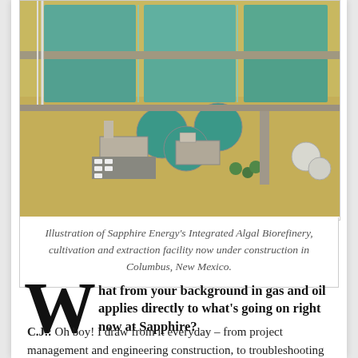[Figure (illustration): Aerial illustration of Sapphire Energy's Integrated Algal Biorefinery facility showing large rectangular cultivation ponds, circular tanks, buildings, and surrounding desert landscape in Columbus, New Mexico.]
Illustration of Sapphire Energy's Integrated Algal Biorefinery, cultivation and extraction facility now under construction in Columbus, New Mexico.
What from your background in gas and oil applies directly to what's going on right now at Sapphire?
C.J.: Oh boy! I draw from it everyday – from project management and engineering construction, to troubleshooting issues out in the field, integration of